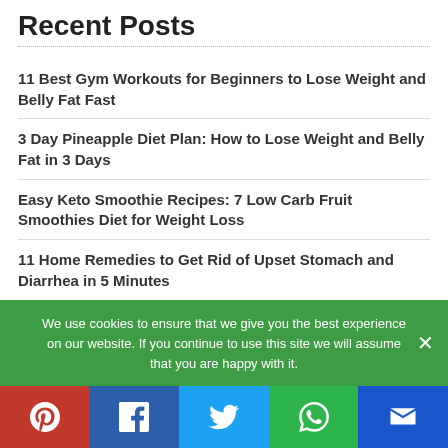Recent Posts
11 Best Gym Workouts for Beginners to Lose Weight and Belly Fat Fast
3 Day Pineapple Diet Plan: How to Lose Weight and Belly Fat in 3 Days
Easy Keto Smoothie Recipes: 7 Low Carb Fruit Smoothies Diet for Weight Loss
11 Home Remedies to Get Rid of Upset Stomach and Diarrhea in 5 Minutes
9 Best Exercises to Lose Weight After 40 at Home
We use cookies to ensure that we give you the best experience on our website. If you continue to use this site we will assume that you are happy with it.
Pinterest | Facebook | Twitter | WhatsApp | Email social share buttons